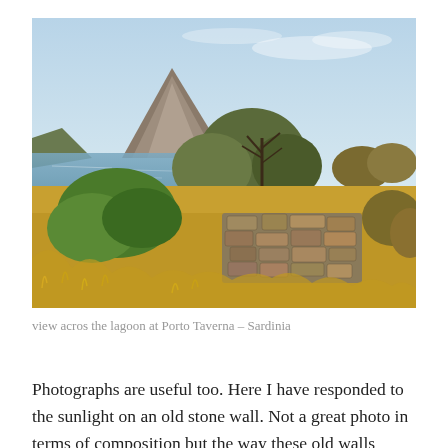[Figure (photo): Landscape photograph showing a view across a lagoon at Porto Taverna, Sardinia. In the foreground are dry golden grasses, green shrubs, and a dry stone wall. Behind is a body of water with scrubby trees, and in the background is a prominent rocky mountain peak under a pale blue sky.]
view acros the lagoon at Porto Taverna – Sardinia
Photographs are useful too. Here I have responded to the sunlight on an old stone wall. Not a great photo in terms of composition but the way these old walls make me feel is